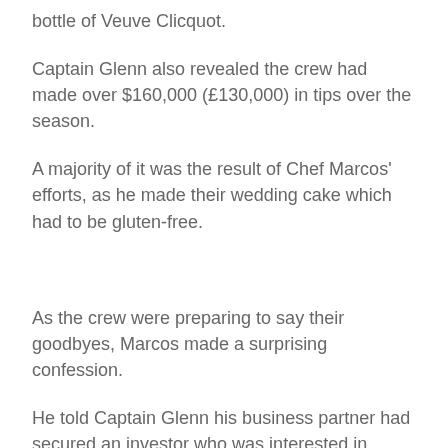bottle of Veuve Clicquot.
Captain Glenn also revealed the crew had made over $160,000 (£130,000) in tips over the season.
A majority of it was the result of Chef Marcos' efforts, as he made their wedding cake which had to be gluten-free.
As the crew were preparing to say their goodbyes, Marcos made a surprising confession.
He told Captain Glenn his business partner had secured an investor who was interested in opening a restaurant with them.
With the Chef taking on a new venture it's likely Marcos will no longer appear in the franchise's upcoming